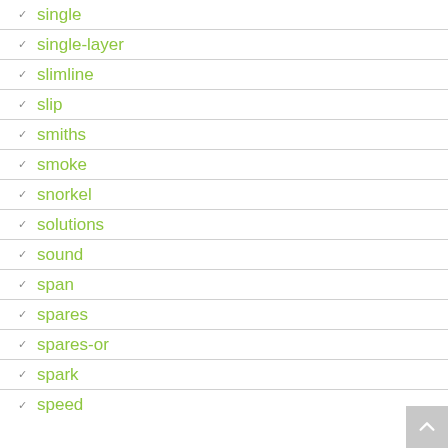single
single-layer
slimline
slip
smiths
smoke
snorkel
solutions
sound
span
spares
spares-or
spark
speed